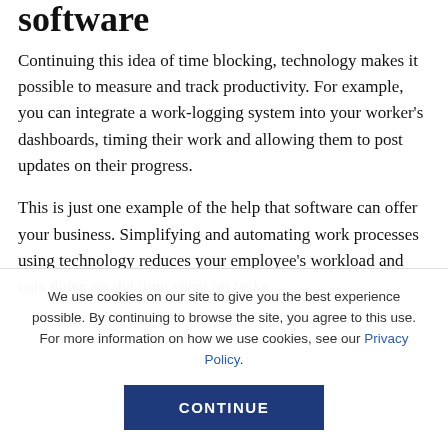software
Continuing this idea of time blocking, technology makes it possible to measure and track productivity. For example, you can integrate a work-logging system into your worker's dashboards, timing their work and allowing them to post updates on their progress.
This is just one example of the help that software can offer your business. Simplifying and automating work processes using technology reduces your employee's workload and cuts down on the time spent on tasks
We use cookies on our site to give you the best experience possible. By continuing to browse the site, you agree to this use. For more information on how we use cookies, see our Privacy Policy.
CONTINUE